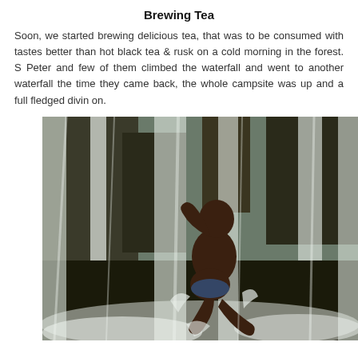Brewing Tea
Soon, we started brewing delicious tea, that was to be consumed with tastes better than hot black tea & rusk on a cold morning in the forest. Peter and few of them climbed the waterfall and went to another waterfall the time they came back, the whole campsite was up and a full fledged divin on.
[Figure (photo): A young boy sitting in rushing waterfall rapids, with cascading water around him, appearing to be playing or cooling off at a rocky waterfall.]